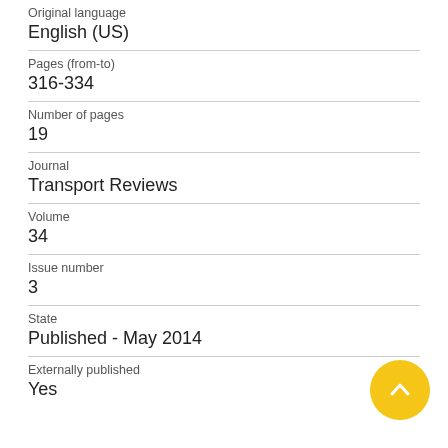Original language
English (US)
Pages (from-to)
316-334
Number of pages
19
Journal
Transport Reviews
Volume
34
Issue number
3
State
Published - May 2014
Externally published
Yes